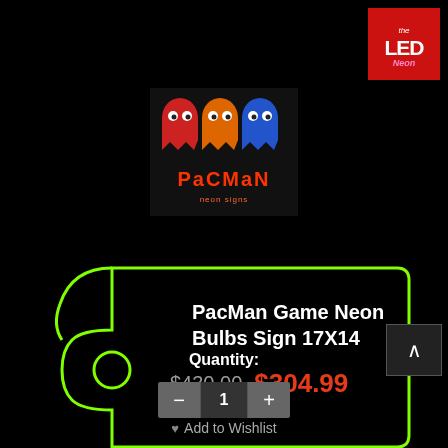[Figure (logo): The LED Neon logo — red background square with white LED text and pink neon script]
[Figure (photo): PacMan neon sign product image showing three ghost characters (red, orange, blue) above PACMAN neon text]
PacMan Game Neon Bulbs Sign 17X14
$430.00  $304.99
Add to Wishlist
Quantity:
1